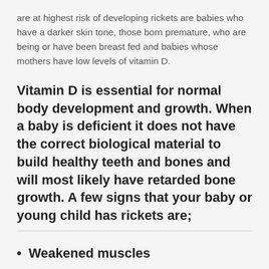are at highest risk of developing rickets are babies who have a darker skin tone, those born premature, who are being or have been breast fed and babies whose mothers have low levels of vitamin D.
Vitamin D is essential for normal body development and growth. When a baby is deficient it does not have the correct biological material to build healthy teeth and bones and will most likely have retarded bone growth. A few signs that your baby or young child has rickets are;
Weakened muscles